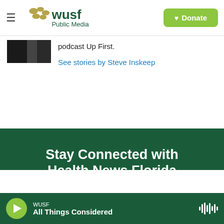[Figure (logo): WUSF Public Media logo with hamburger menu and Donate button]
[Figure (photo): Author photo (partially visible, dark tones)]
podcast Up First.
See stories by Steve Inskeep
Stay Connected with Health News Florida
Text "HEALTH" To (813) 491-9255
Send Text
WUSF All Things Considered